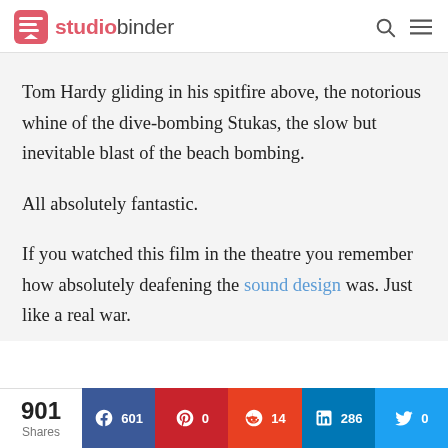studiobinder
Tom Hardy gliding in his spitfire above, the notorious whine of the dive-bombing Stukas, the slow but inevitable blast of the beach bombing.
All absolutely fantastic.
If you watched this film in the theatre you remember how absolutely deafening the sound design was. Just like a real war.
901 Shares | Facebook 601 | Pinterest 0 | Reddit 14 | LinkedIn 286 | Twitter 0